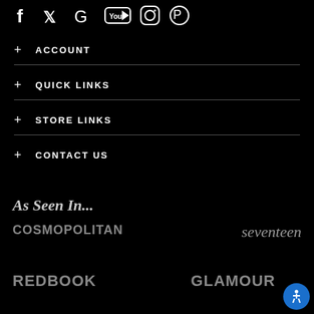[Figure (illustration): Social media icons row: Facebook, Twitter, Google, YouTube, Instagram, Pinterest — white icons on black background]
+ ACCOUNT
+ QUICK LINKS
+ STORE LINKS
+ CONTACT US
As Seen In...
[Figure (logo): COSMOPOLITAN logo in grey bold condensed type]
[Figure (logo): seventeen logo in grey italic serif script]
[Figure (logo): REDBOOK logo in grey heavy bold type]
[Figure (logo): GLAMOUR logo in grey bold type]